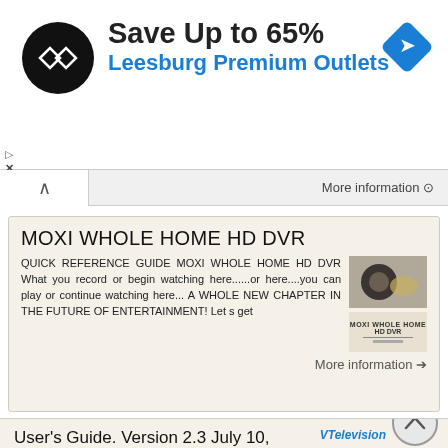[Figure (infographic): Advertisement banner: black circular logo with double-arrow chevron, 'Save Up to 65%' in bold black, 'Leesburg Premium Outlets' in blue, blue diamond navigation icon on right, small play/close arrows on left]
More information ⊕
MOXI WHOLE HOME HD DVR
QUICK REFERENCE GUIDE MOXI WHOLE HOME HD DVR What you record or begin watching here......or here....you can play or continue watching here... A WHOLE NEW CHAPTER IN THE FUTURE OF ENTERTAINMENT! Let s get
More information ➔
User's Guide. Version 2.3 July 10, VTelevision User's Guide. Page 1
User's Guide Version 2.3 July 10, 2013 Page